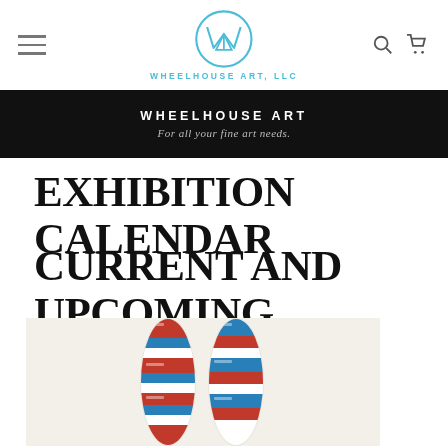WheelHouse Art, LLC — Navigation bar with hamburger menu, logo, search and cart icons
WHEELHOUSE ART — For all your fine art needs.
EXHIBITION CALENDAR
CURRENT AND UPCOMING
[Figure (photo): Photograph of a colorful fabric sculpture or textile artwork featuring red, white, and blue patterned material shaped into two tall narrow vertical forms, displayed against a white background.]